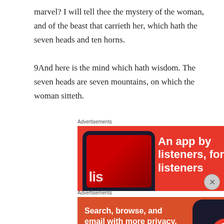marvel? I will tell thee the mystery of the woman, and of the beast that carrieth her, which hath the seven heads and ten horns.
9And here is the mind which hath wisdom. The seven heads are seven mountains, on which the woman sitteth.
Advertisements
[Figure (illustration): Red advertisement banner for a podcast/listening app. Shows a smartphone on the left with a dark screen displaying red content and a badge. Text on the right reads 'An app by listeners, for listeners' in white bold text.]
Advertisements
[Figure (illustration): Orange-red DuckDuckGo advertisement banner. Left side shows white text 'Search, browse, and email with more privacy.' with a white rounded button 'All in One Free App'. Right side shows a dark smartphone with the DuckDuckGo logo and wordmark.]